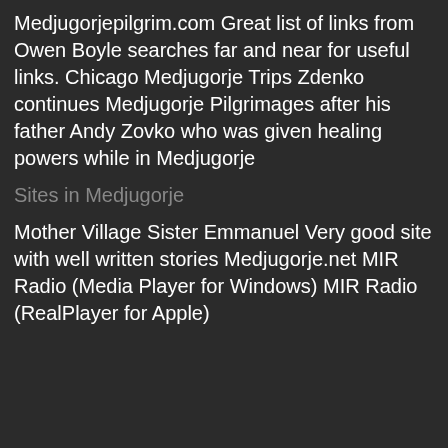Medjugorjepilgrim.com Great list of links from Owen Boyle searches far and near for useful links. Chicago Medjugorje Trips Zdenko continues Medjugorje Pilgrimages after his father Andy Zovko who was given healing powers while in Medjugorje
Sites in Medjugorje
Mother Village Sister Emmanuel Very good site with well written stories Medjugorje.net MIR Radio (Media Player for Windows) MIR Radio (RealPlayer for Apple)